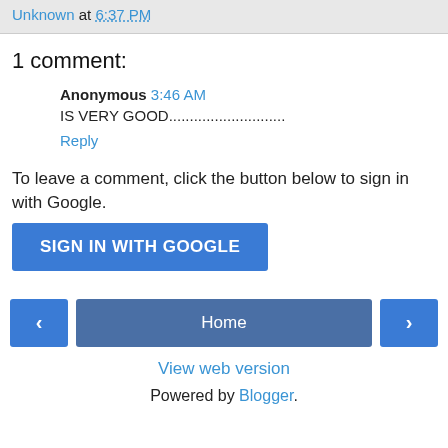Unknown at 6:37 PM
1 comment:
Anonymous 3:46 AM
IS VERY GOOD............................
Reply
To leave a comment, click the button below to sign in with Google.
[Figure (other): SIGN IN WITH GOOGLE button (blue)]
[Figure (other): Navigation bar with left arrow, Home button, and right arrow]
View web version
Powered by Blogger.